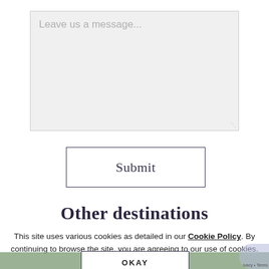[Figure (screenshot): A textarea input field with light gray background and placeholder text 'Leave us a message...' with a resize handle at the bottom right corner]
[Figure (screenshot): A Submit button with white background and dark border]
Other destinations
This site uses various cookies as detailed in our Cookie Policy. By continuing to browse the site, you are agreeing to our use of cookies.
[Figure (screenshot): An OKAY button with white background and dark border, overlaying a photo of nature/greenery]